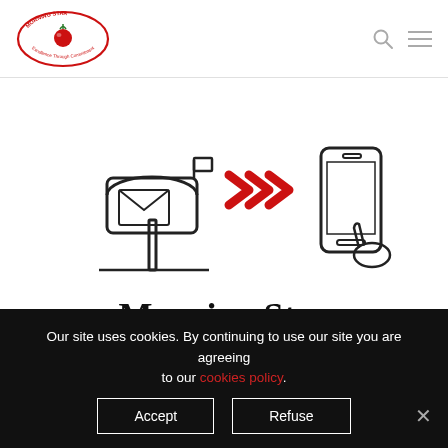[Figure (logo): Morning Star logo — red oval with tomato illustration and text 'Excellence Through Commitment']
[Figure (illustration): Three inline icons: a mailbox with letter, red double chevron arrows pointing right, and a smartphone with hand cursor — representing newsletter delivery from mail to mobile]
Morning Star Newsletter
Our site uses cookies. By continuing to use our site you are agreeing to our cookies policy.